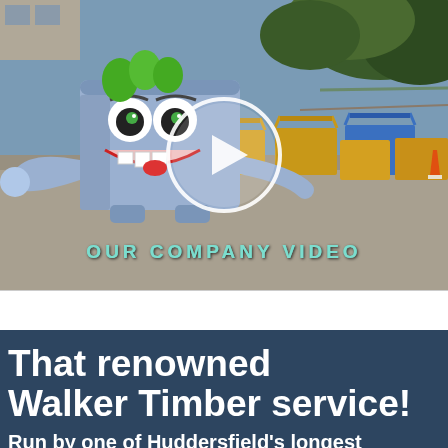[Figure (screenshot): Company video thumbnail showing an animated cartoon skip (dumpster) mascot with green hair and a smiling face, positioned over a real photo of a skip yard with multiple yellow and blue skips/containers. A large circular play button overlay is centered on the image. Text 'OUR COMPANY VIDEO' appears at the bottom of the image in teal/cyan colored uppercase letters.]
That renowned Walker Timber service!
Run by one of Huddersfield's longest